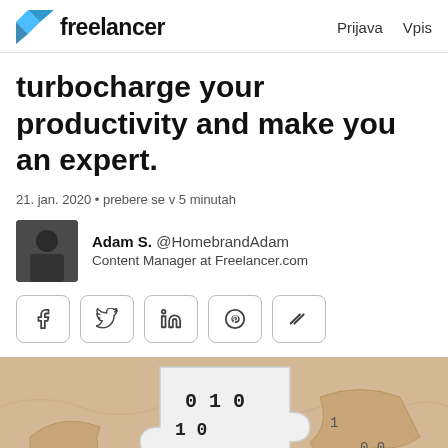Freelancer | Prijava  Vpis
turbocharge your productivity and make you an expert.
21. jan. 2020 • prebere se v 5 minutah
Adam S. @HomebrandAdam
Content Manager at Freelancer.com
[Figure (other): Social media share buttons: Facebook, Twitter, LinkedIn, Pinterest, and a share icon]
[Figure (photo): Close-up photo of puzzle pieces on a tan/beige background. One puzzle piece has binary digits (0s and 1s) printed on it in a monospace font.]